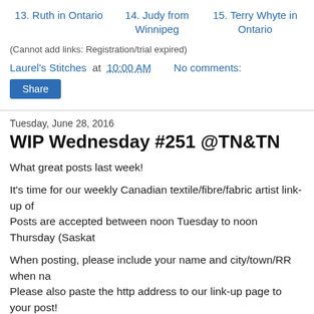13. Ruth in Ontario
14. Judy from Winnipeg
15. Terry Whyte in Ontario
(Cannot add links: Registration/trial expired)
Laurel's Stitches at 10:00 AM   No comments:
Share
Tuesday, June 28, 2016
WIP Wednesday #251 @TN&TN
What great posts last week!
It's time for our weekly Canadian textile/fibre/fabric artist link-up of Posts are accepted between noon Tuesday to noon Thursday (Saskat
When posting, please include your name and city/town/RR when na Please also paste the http address to our link-up page to your post!
Happy Canada Day and happy blogging!